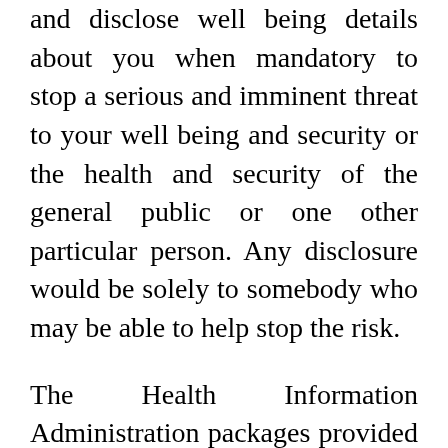and disclose well being details about you when mandatory to stop a serious and imminent threat to your well being and security or the health and security of the general public or one other particular person. Any disclosure would be solely to somebody who may be able to help stop the risk.
The Health Information Administration packages provided by UIC are designed to impart the information and important expertise necessary for helping organizations develop